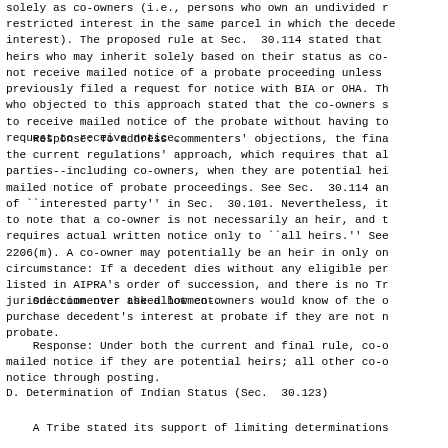solely as co-owners (i.e., persons who own an undivided restricted interest in the same parcel in which the decedent's interest). The proposed rule at Sec. 30.114 stated that heirs who may inherit solely based on their status as co-owners not receive mailed notice of a probate proceeding unless previously filed a request for notice with BIA or OHA. Those who objected to this approach stated that the co-owners should to receive mailed notice of the probate without having to file a request to receive notice.
Response: To address commenters' objections, the final rule retains the current regulations' approach, which requires that all interested parties--including co-owners, when they are potential heirs--receive mailed notice of probate proceedings. See Sec. 30.114 and the definition of ``interested party'' in Sec. 30.101. Nevertheless, it is important to note that a co-owner is not necessarily an heir, and the statute requires actual written notice only to ``all heirs.'' See 25 U.S.C. 2206(m). A co-owner may potentially be an heir in only one narrow circumstance: If a decedent dies without any eligible person listed in AIPRA's order of succession, and there is no Tribe with jurisdiction over the allotment.
One commenter asked how co-owners would know of the opportunity to purchase decedent's interest at probate if they are not notified of the probate.
Response: Under both the current and final rule, co-owners receive mailed notice if they are potential heirs; all other co-owners receive notice through posting.
D. Determination of Indian Status (Sec.  30.123)
A Tribe stated its support of limiting determinations